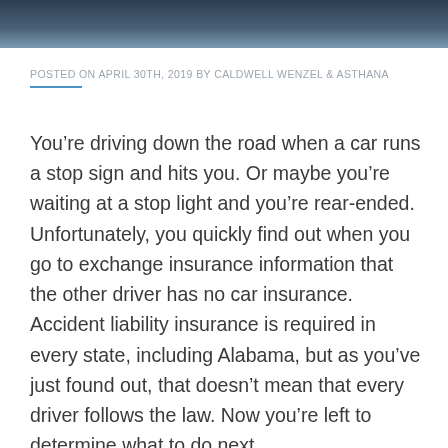[Figure (photo): Dark blue/grey photo banner at top of page, appears to show a car or road scene]
POSTED ON APRIL 30TH, 2019 BY CALDWELL WENZEL & ASTHANA
You’re driving down the road when a car runs a stop sign and hits you. Or maybe you’re waiting at a stop light and you’re rear-ended. Unfortunately, you quickly find out when you go to exchange insurance information that the other driver has no car insurance. Accident liability insurance is required in every state, including Alabama, but as you’ve just found out, that doesn’t mean that every driver follows the law. Now you’re left to determine what to do next.